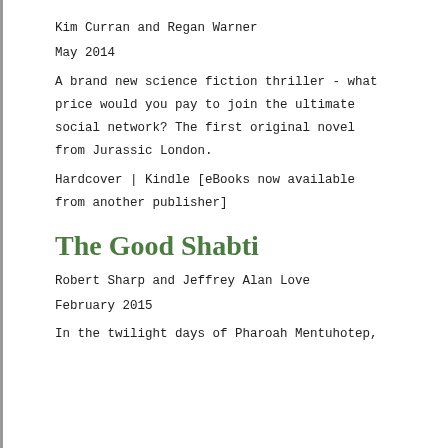Kim Curran and Regan Warner
May 2014
A brand new science fiction thriller - what price would you pay to join the ultimate social network? The first original novel from Jurassic London.
Hardcover | Kindle [eBooks now available from another publisher]
The Good Shabti
Robert Sharp and Jeffrey Alan Love
February 2015
In the twilight days of Pharoah Mentuhotep,